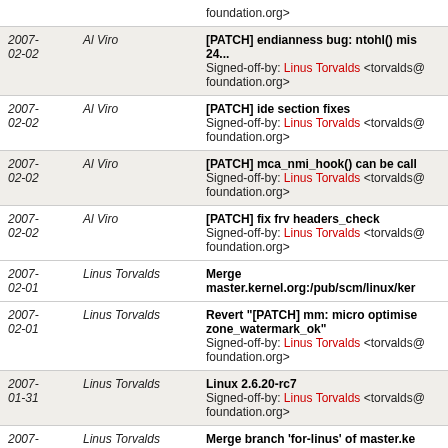| Date | Author | Commit Message |
| --- | --- | --- |
| 2007-02-02 | Al Viro | [PATCH] endianness bug: ntohl() mis... 24...
Signed-off-by: Linus Torvalds <torvalds@...foundation.org> |
| 2007-02-02 | Al Viro | [PATCH] ide section fixes
Signed-off-by: Linus Torvalds <torvalds@...foundation.org> |
| 2007-02-02 | Al Viro | [PATCH] mca_nmi_hook() can be call...
Signed-off-by: Linus Torvalds <torvalds@...foundation.org> |
| 2007-02-02 | Al Viro | [PATCH] fix frv headers_check
Signed-off-by: Linus Torvalds <torvalds@...foundation.org> |
| 2007-02-01 | Linus Torvalds | Merge master.kernel.org:/pub/scm/linux/ker... |
| 2007-02-01 | Linus Torvalds | Revert "[PATCH] mm: micro optimise... zone_watermark_ok"
Signed-off-by: Linus Torvalds <torvalds@...foundation.org> |
| 2007-01-31 | Linus Torvalds | Linux 2.6.20-rc7
Signed-off-by: Linus Torvalds <torvalds@...foundation.org> |
| 2007-01-31 | Linus Torvalds | Merge branch 'for-linus' of master.ke... |
| 2007-01-31 | David Barksdale | [PATCH] IPMI: fix timeout list handlin...
Signed-off-by: Linus Torvalds <torvalds@... |